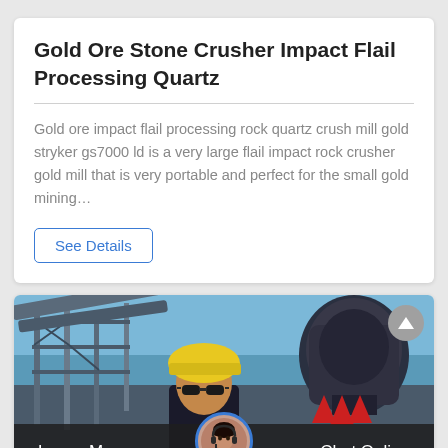Gold Ore Stone Crusher Impact Flail Processing Quartz
Gold ore impact flail processing rock quartz crush mill gold stryker gs7000 ld is a very large flail impact rock crusher gold mill that is very portable and perfect for the small gold mining…
See Details
[Figure (photo): Photo of a worker wearing a yellow hard hat and sunglasses standing in front of large industrial mining/crushing machinery with metal scaffolding and red equipment parts visible in the background.]
Leave Message    Chat Online